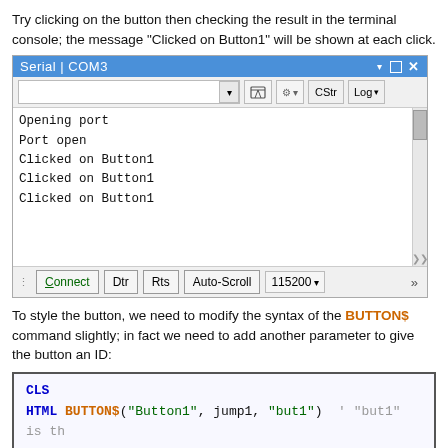Try clicking on the button then checking the result in the terminal console; the message "Clicked on Button1" will be shown at each click.
[Figure (screenshot): Arduino Serial Monitor window showing output: Opening port, Port open, Clicked on Button1 (three times). Bottom toolbar shows Connect, Dtr, Rts, Auto-Scroll, 115200 baud controls.]
To style the button, we need to modify the syntax of the BUTTON$ command slightly; in fact we need to add another parameter to give the button an ID:
[Figure (screenshot): Code box showing: CLS on first line, HTML BUTTON$("Button1", jump1, "but1")  ' "but1" is th...]